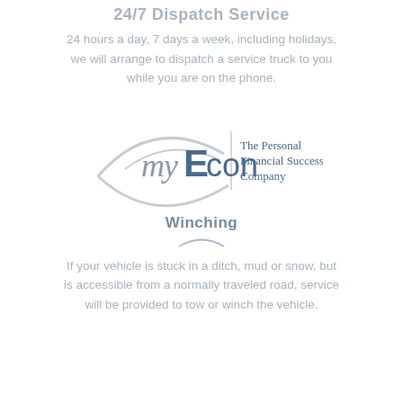24/7 Dispatch Service
24 hours a day, 7 days a week, including holidays, we will arrange to dispatch a service truck to you while you are on the phone.
[Figure (logo): myEcon - The Personal Financial Success Company logo]
Winching
If your vehicle is stuck in a ditch, mud or snow, but is accessible from a normally traveled road, service will be provided to tow or winch the vehicle.